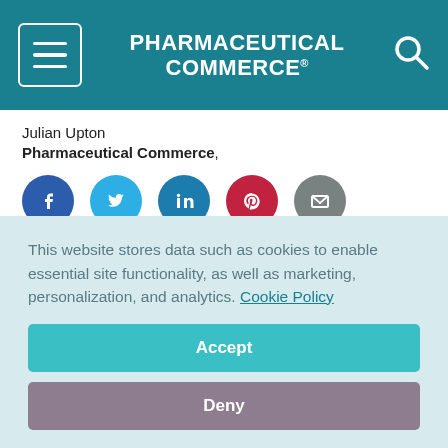PHARMACEUTICAL COMMERCE
Julian Upton
Pharmaceutical Commerce,
[Figure (infographic): Row of five social media sharing icons: Facebook (blue), Twitter (light blue), LinkedIn (dark blue), Pinterest (red), Email (grey)]
Pharma Commerce's podcasts offer new angles on its roster of key topics
This website stores data such as cookies to enable essential site functionality, as well as marketing, personalization, and analytics. Cookie Policy
Accept
Deny